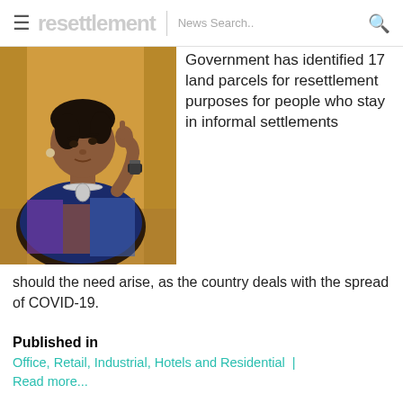resettlement | News Search..
[Figure (photo): Photo of a woman in a patterned outfit resting her chin on her hand, against a yellow/gold curtain background]
Government has identified 17 land parcels for resettlement purposes for people who stay in informal settlements should the need arise, as the country deals with the spread of COVID-19.
Published in
Office, Retail, Industrial, Hotels and Residential
Read more...